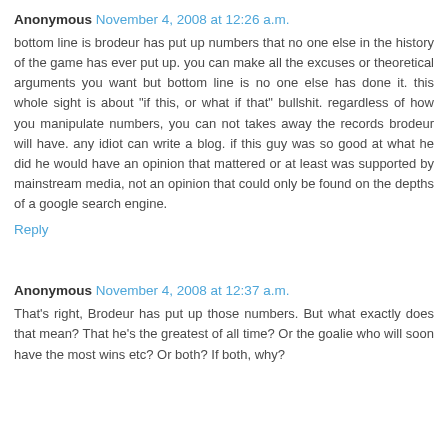Anonymous November 4, 2008 at 12:26 a.m.
bottom line is brodeur has put up numbers that no one else in the history of the game has ever put up. you can make all the excuses or theoretical arguments you want but bottom line is no one else has done it. this whole sight is about "if this, or what if that" bullshit. regardless of how you manipulate numbers, you can not takes away the records brodeur will have. any idiot can write a blog. if this guy was so good at what he did he would have an opinion that mattered or at least was supported by mainstream media, not an opinion that could only be found on the depths of a google search engine.
Reply
Anonymous November 4, 2008 at 12:37 a.m.
That's right, Brodeur has put up those numbers. But what exactly does that mean? That he's the greatest of all time? Or the goalie who will soon have the most wins etc? Or both? If both, why?